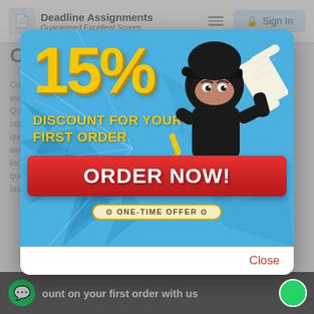Deadline Assignments — Guaranteed Excellent Scores | Sign In
Communication
Communication is important in a multitude of ways. Questions may ask about course topics, ask questions, as well as Individual questions. You should post at least once every 24 hours.
[Figure (illustration): Promotional modal popup showing a 15% discount for your first order with a cartoon ninja character holding a scroll and pencil. Red ORDER NOW! button with ONE-TIME OFFER badge below.]
Close
ount on your first order with us